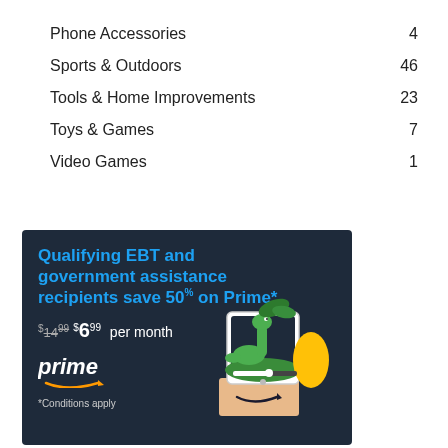Phone Accessories    4
Sports & Outdoors    46
Tools & Home Improvements    23
Toys & Games    7
Video Games    1
[Figure (infographic): Amazon Prime EBT ad banner on dark navy background. Headline in blue: 'Qualifying EBT and government assistance recipients save 50% on Prime*'. Price shown: crossed-out $14.99 and new price $6.99 per month. Amazon Prime logo with smile arrow in white. Note: '*Conditions apply'. Illustration of a tablet with green dinosaur/sea creature and Amazon box with smile logo on the right.]